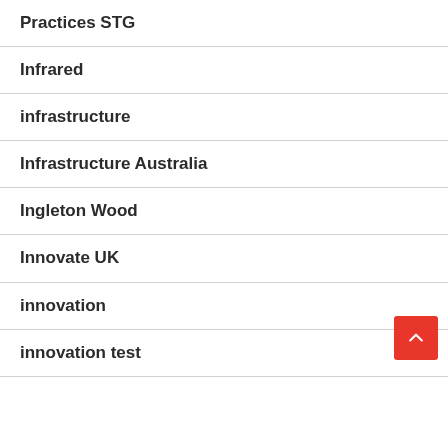Practices STG
Infrared
infrastructure
Infrastructure Australia
Ingleton Wood
Innovate UK
innovation
innovation test